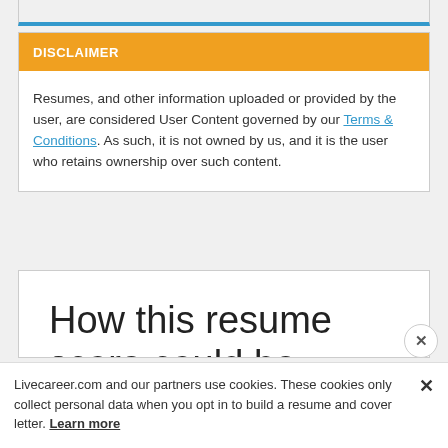DISCLAIMER
Resumes, and other information uploaded or provided by the user, are considered User Content governed by our Terms & Conditions. As such, it is not owned by us, and it is the user who retains ownership over such content.
How this resume score could be improved?
Livecareer.com and our partners use cookies. These cookies only collect personal data when you opt in to build a resume and cover letter. Learn more